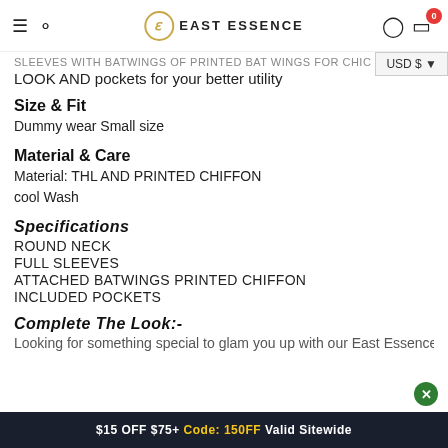East Essence — navigation header with search, logo, user and cart icons
SLEEVES WITH BATWINGS OF PRINTED BAT WINGS FOR CHIC
LOOK AND pockets for your better utility
Size & Fit
Dummy wear Small size
Material & Care
Material: THL AND PRINTED CHIFFON
cool Wash
Specifications
ROUND NECK
FULL SLEEVES
ATTACHED BATWINGS PRINTED CHIFFON
INCLUDED POCKETS
Complete The Look:-
Looking for something special to glam you up with our East Essence
$15 OFF $75+ Code: 150FF Valid Sitewide